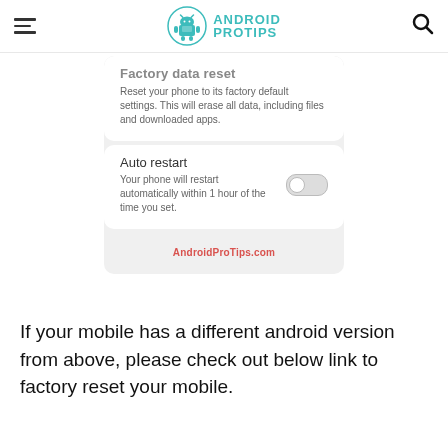Android Pro Tips
[Figure (screenshot): Android phone settings screenshot showing Factory data reset option and Auto restart toggle (disabled). AndroidProTips.com watermark at bottom.]
If your mobile has a different android version from above, please check out below link to factory reset your mobile.